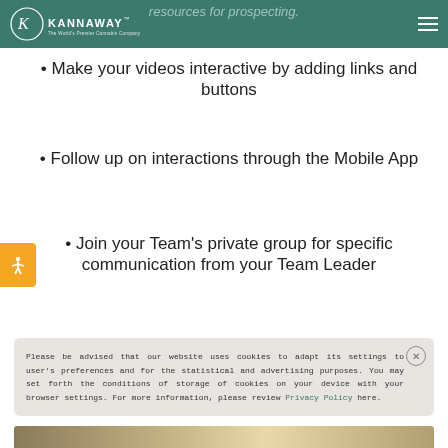resources for prospecting.
Make your videos interactive by adding links and buttons
Follow up on interactions through the Mobile App
Join your Team's private group for specific communication from your Team Leader
Please be advised that our website uses cookies to adapt its settings to user's preferences and for the statistical and advertising purposes. You may set forth the conditions of storage of cookies on your device with your browser settings. For more information, please review Privacy Policy here.